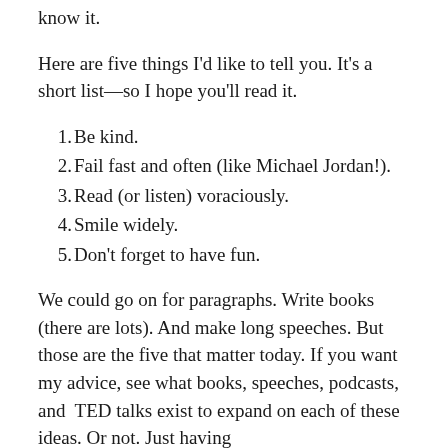know it.
Here are five things I'd like to tell you. It's a short list—so I hope you'll read it.
Be kind.
Fail fast and often (like Michael Jordan!).
Read (or listen) voraciously.
Smile widely.
Don't forget to have fun.
We could go on for paragraphs. Write books (there are lots). And make long speeches. But those are the five that matter today. If you want my advice, see what books, speeches, podcasts, and  TED talks exist to expand on each of these ideas. Or not. Just having